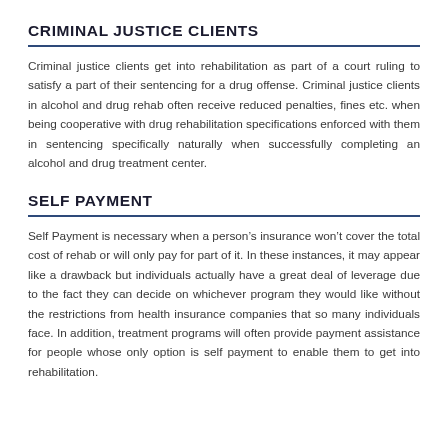CRIMINAL JUSTICE CLIENTS
Criminal justice clients get into rehabilitation as part of a court ruling to satisfy a part of their sentencing for a drug offense. Criminal justice clients in alcohol and drug rehab often receive reduced penalties, fines etc. when being cooperative with drug rehabilitation specifications enforced with them in sentencing specifically naturally when successfully completing an alcohol and drug treatment center.
SELF PAYMENT
Self Payment is necessary when a person’s insurance won’t cover the total cost of rehab or will only pay for part of it. In these instances, it may appear like a drawback but individuals actually have a great deal of leverage due to the fact they can decide on whichever program they would like without the restrictions from health insurance companies that so many individuals face. In addition, treatment programs will often provide payment assistance for people whose only option is self payment to enable them to get into rehabilitation.